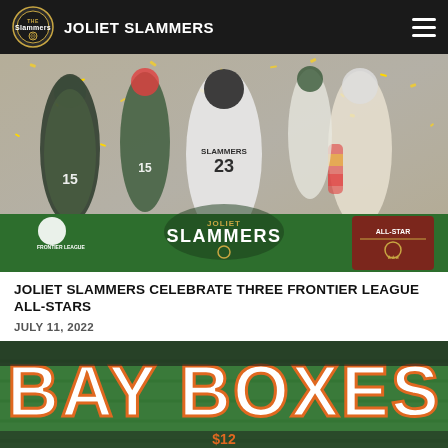JOLIET SLAMMERS
[Figure (photo): Joliet Slammers players celebrating with confetti, with Joliet Slammers logo and All-Star logo at bottom. Frontier League logo visible on left.]
JOLIET SLAMMERS CELEBRATE THREE FRONTIER LEAGUE ALL-STARS
JULY 11, 2022
[Figure (photo): Bay Boxes promotional image showing orange text on green turf background with '$139' price partially visible]